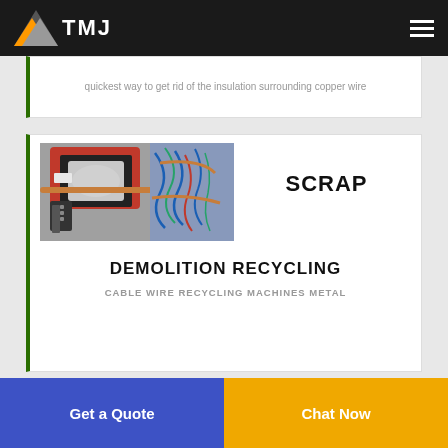TMJ
quickest way to get rid of the insulation surrounding copper wire
[Figure (photo): A red and black cable wire stripping/recycling machine shown from above, with copper wire with blue and other colored insulation in the background]
SCRAP
DEMOLITION RECYCLING
CABLE WIRE RECYCLING MACHINES METAL